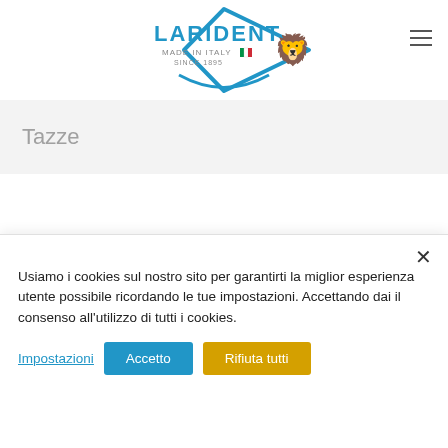[Figure (logo): Larident logo — blue diamond shape with a rearing lion, text LARIDENT MADE IN ITALY SINCE 1895 with Italian flag colors]
Tazze
Usiamo i cookies sul nostro sito per garantirti la miglior esperienza utente possibile ricordando le tue impostazioni. Accettando dai il consenso all'utilizzo di tutti i cookies.
Impostazioni   Accetto   Rifiuta tutti